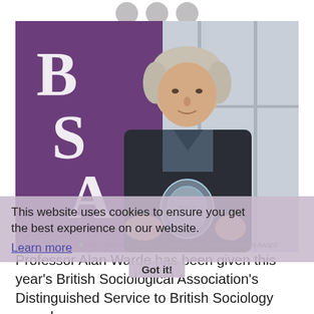BSA logo / circles
[Figure (photo): Professor Alan Warde standing in front of a purple BSA (British Sociological Association) banner, holding a glass award trophy. The banner displays the letters B, S, A in large white serif font. The background shows a bright windowed wall.]
Alan Warde received this year's Distinguished Service Award
This website uses cookies to ensure you get the best experience on our website.
Learn more
Got it!
Professor Alan Warde has been given this year's British Sociological Association's Distinguished Service to British Sociology award.